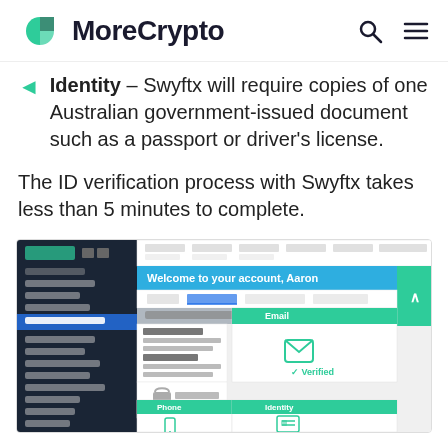MoreCrypto
Identity – Swyftx will require copies of one Australian government-issued document such as a passport or driver's license.
The ID verification process with Swyftx takes less than 5 minutes to complete.
[Figure (screenshot): Screenshot of Swyftx account verification page showing Welcome message and verification status panels for Email (Verified), Phone, and Identity.]